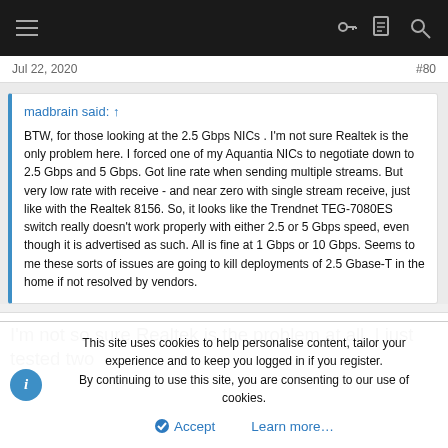Navigation bar with menu, key, document, and search icons
Jul 22, 2020  #80
madbrain said: ↑

BTW, for those looking at the 2.5 Gbps NICs . I'm not sure Realtek is the only problem here. I forced one of my Aquantia NICs to negotiate down to 2.5 Gbps and 5 Gbps. Got line rate when sending multiple streams. But very low rate with receive - and near zero with single stream receive, just like with the Realtek 8156. So, it looks like the Trendnet TEG-7080ES switch really doesn't work properly with either 2.5 or 5 Gbps speed, even though it is advertised as such. All is fine at 1 Gbps or 10 Gbps. Seems to me these sorts of issues are going to kill deployments of 2.5 Gbase-T in the home if not resolved by vendors.
I'm not so sure Realtek is the problem at all. I just tested two
This site uses cookies to help personalise content, tailor your experience and to keep you logged in if you register.
By continuing to use this site, you are consenting to our use of cookies.

Accept   Learn more…